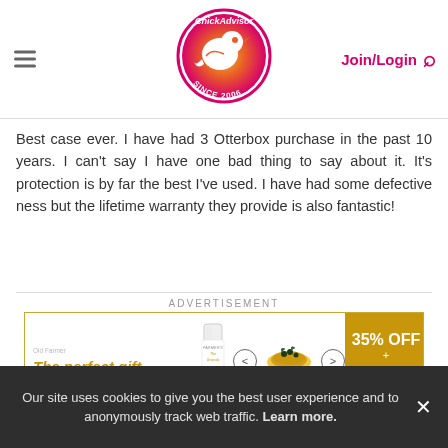[Figure (logo): ChickAdvisor logo - circular gradient orange-red bird logo with 'ChickAdvisor Since 2006' text]
Best case ever. I have had 3 Otterbox purchase in the past 10 years. I can't say I have one bad thing to say about it. It's protection is by far the best I've used. I have had some defective ness but the lifetime warranty they provide is also fantastic!
ADVERTISEMENT
[Figure (infographic): Advertisement banner: 'The perfect gift' in gold text, showing a glass, left/right arrows, bowl with food, and '35% OFF + FREE SHIPPING' in gold box on right]
These reviews are the subjective opinions of ChickAdvisor members and not of ChickAdvisor Inc.
Our site uses cookies to give you the best user experience and to anonymously track web traffic. Learn more.